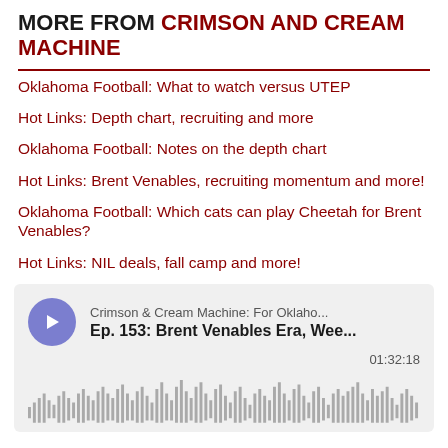MORE FROM CRIMSON AND CREAM MACHINE
Oklahoma Football: What to watch versus UTEP
Hot Links: Depth chart, recruiting and more
Oklahoma Football: Notes on the depth chart
Hot Links: Brent Venables, recruiting momentum and more!
Oklahoma Football: Which cats can play Cheetah for Brent Venables?
Hot Links: NIL deals, fall camp and more!
[Figure (other): Podcast player widget showing Crimson & Cream Machine: For Oklaho... episode Ep. 153: Brent Venables Era, Wee... with duration 01:32:18 and waveform visualization. Play button is a purple circle with white triangle.]